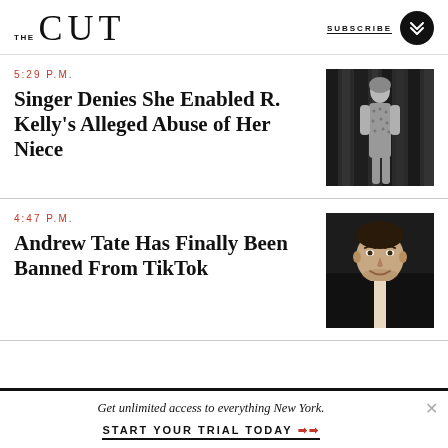THE CUT | SUBSCRIBE
5:29 P.M.
Singer Denies She Enabled R. Kelly's Alleged Abuse of Her Niece
[Figure (photo): Black and white photo of a woman in a patterned dress standing between dark curtains]
4:47 P.M.
Andrew Tate Has Finally Been Banned From TikTok
[Figure (photo): Black and white photo of a young man smiling, wearing a dark jacket]
Get unlimited access to everything New York. START YOUR TRIAL TODAY ➜➜